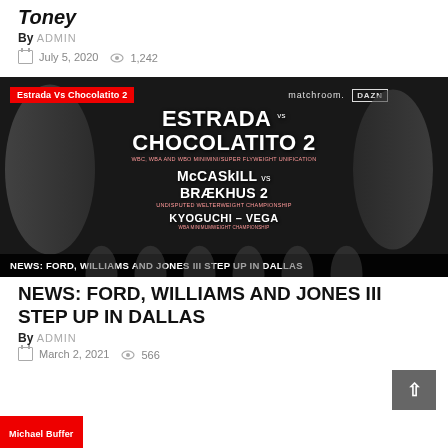Toney
By ADMIN
July 5, 2020   1,242
[Figure (photo): Fight poster for Estrada vs Chocolatito 2, also featuring McCaskill vs Braekhus 2 and Kyoguchi vs Vega. Shows boxers in black and white. Bottom bar reads: NEWS: FORD, WILLIAMS AND JONES III STEP UP IN DALLAS. Red banner top-left: Estrada Vs Chocolatito 2.]
NEWS: FORD, WILLIAMS AND JONES III STEP UP IN DALLAS
By ADMIN
March 2, 2021   566
Michael Buffer